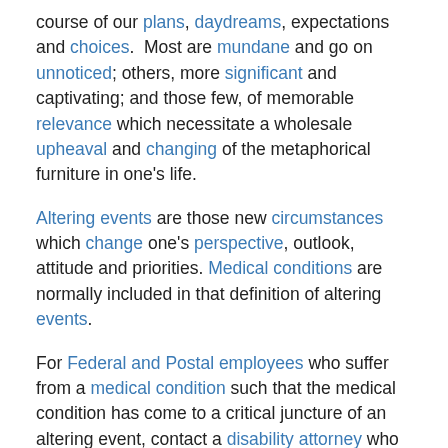course of our plans, daydreams, expectations and choices.  Most are mundane and go on unnoticed; others, more significant and captivating; and those few, of memorable relevance which necessitate a wholesale upheaval and changing of the metaphorical furniture in one's life.
Altering events are those new circumstances which change one's perspective, outlook, attitude and priorities. Medical conditions are normally included in that definition of altering events.
For Federal and Postal employees who suffer from a medical condition such that the medical condition has come to a critical juncture of an altering event, contact a disability attorney who specializes in Federal Disability Retirement Law, and begin the process of preparing,